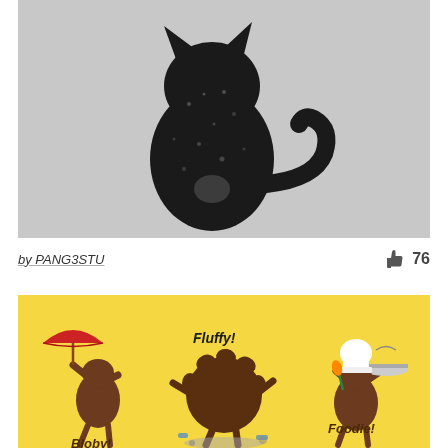[Figure (illustration): Black cat silhouette illustration on light grey background, textured/stamp-like style, cat sitting with tail curled around]
by PANG3STU
76
[Figure (illustration): Cartoon illustrations of three poop emoji-like characters on yellow background: left character labeled 'Bloby!' holding a red umbrella, middle character labeled 'Fluffy!' exploding/fluffy, right character labeled 'Foodie!' wearing a chef hat and holding a serving platter]